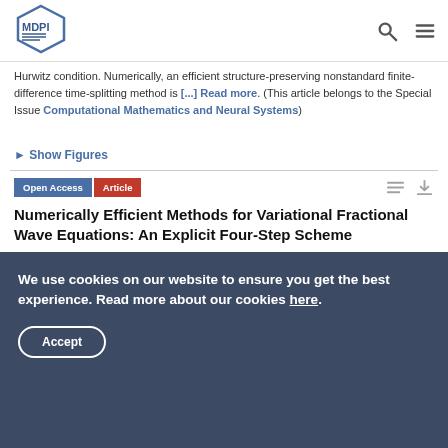[Figure (logo): MDPI hexagonal logo in top-left nav bar]
Hurwitz condition. Numerically, an efficient structure-preserving nonstandard finite-difference time-splitting method is [...] Read more. (This article belongs to the Special Issue Computational Mathematics and Neural Systems)
► Show Figures
Open Access  Article
Numerically Efficient Methods for Variational Fractional Wave Equations: An Explicit Four-Step Scheme
by Jorge E. Macías-Díaz
We use cookies on our website to ensure you get the best experience. Read more about our cookies here. Accept